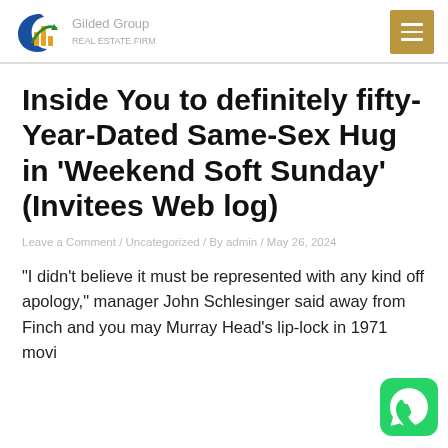Gilded Group — Real Estate Firm logo and navigation
Inside You to definitely fifty-Year-Dated Same-Sex Hug in ‘Weekend Soft Sunday’ (Invitees Web log)
Leave a Comment / Uncategorized / By admin / May 26, 2024
“I didn’t believe it must be represented with any kind off apology,” manager John Schlesinger said away from Finch and you may Murray Head’s lip-lock in 1971 movi